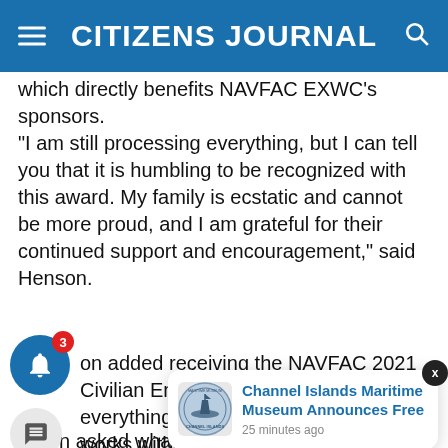CITIZENS JOURNAL
which directly benefits NAVFAC EXWC's sponsors.
“I am still processing everything, but I can tell you that it is humbling to be recognized with this award. My family is ecstatic and cannot be more proud, and I am grateful for their continued support and encouragement,” said Henson.
on added receiving the NAVFAC 2021 Civilian Engineer of the Year award has everything to do with the colleagues he works with—the work NAVFAC EXWC does de dedication, an
When asked what advice he could give for the next
[Figure (infographic): Channel Islands Maritime Museum notification popup card with museum logo, text 'Channel Islands Maritime Museum Announces Free', timestamp '25 minutes ago', and a close X button]